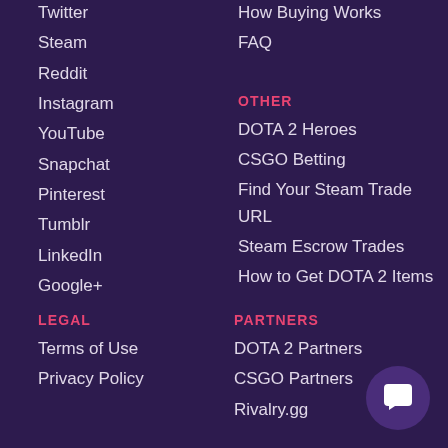Twitter
Steam
Reddit
Instagram
YouTube
Snapchat
Pinterest
Tumblr
LinkedIn
Google+
How Buying Works
FAQ
OTHER
DOTA 2 Heroes
CSGO Betting
Find Your Steam Trade URL
Steam Escrow Trades
How to Get DOTA 2 Items
LEGAL
Terms of Use
Privacy Policy
PARTNERS
DOTA 2 Partners
CSGO Partners
Rivalry.gg